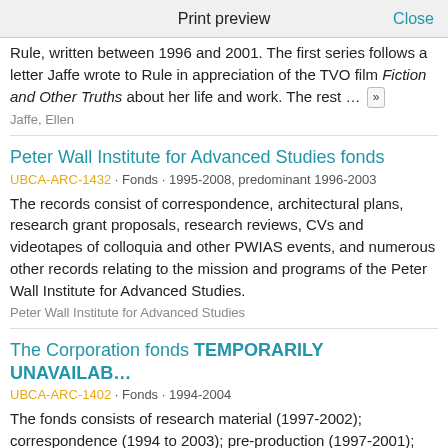Print preview | Close
Rule, written between 1996 and 2001. The first series follows a letter Jaffe wrote to Rule in appreciation of the TVO film Fiction and Other Truths about her life and work. The rest ... »
Jaffe, Ellen
Peter Wall Institute for Advanced Studies fonds
UBCA-ARC-1432 · Fonds · 1995-2008, predominant 1996-2003
The records consist of correspondence, architectural plans, research grant proposals, research reviews, CVs and videotapes of colloquia and other PWIAS events, and numerous other records relating to the mission and programs of the Peter Wall Institute for Advanced Studies.
Peter Wall Institute for Advanced Studies
The Corporation fonds TEMPORARILY UNAVAILAB...
UBCA-ARC-1402 · Fonds · 1994-2004
The fonds consists of research material (1997-2002); correspondence (1994 to 2003); pre-production (1997-2001); production from 1997-2003; post-production (2000-2002); audio/video tapes (1997-2004); and photographs (2000-2001). The series has been ... »
The Corporation